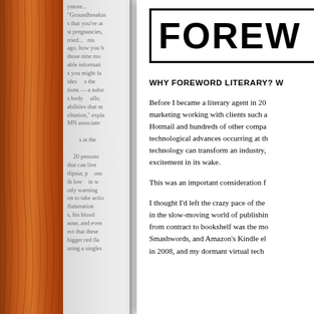[Figure (illustration): Open book spread showing left page with wood-paneled background and blurred text from previous page, and right page with FOREWORD chapter opening]
FOREWORD
WHY FOREWORD LITERARY? W
Before I became a literary agent in 20, marketing working with clients such as Hotmail and hundreds of other compa, technological advances occurring at th, technology can transform an industry, excitement in its wake.
This was an important consideration f
I thought I'd left the crazy pace of the in the slow-moving world of publishin, from contract to bookshelf was the mo, Smashwords, and Amazon's Kindle el, in 2008, and my dormant virtual tech